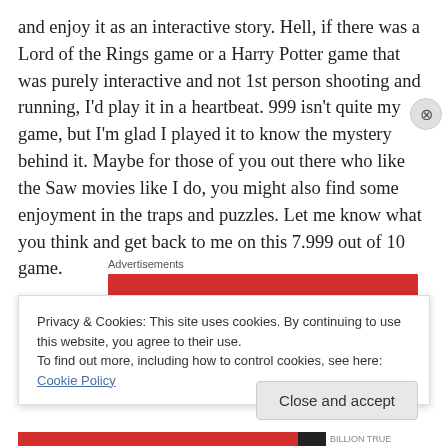and enjoy it as an interactive story. Hell, if there was a Lord of the Rings game or a Harry Potter game that was purely interactive and not 1st person shooting and running, I'd play it in a heartbeat. 999 isn't quite my game, but I'm glad I played it to know the mystery behind it. Maybe for those of you out there who like the Saw movies like I do, you might also find some enjoyment in the traps and puzzles. Let me know what you think and get back to me on this 7.999 out of 10 game.
Advertisements
[Figure (other): Red advertisement banner bar]
Privacy & Cookies: This site uses cookies. By continuing to use this website, you agree to their use.
To find out more, including how to control cookies, see here: Cookie Policy
Close and accept